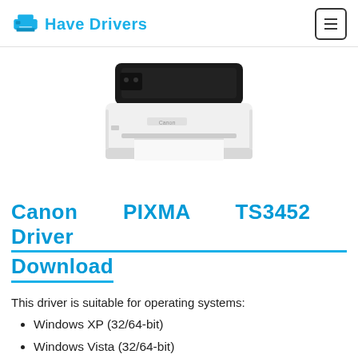Have Drivers
[Figure (photo): Canon PIXMA TS3452 printer — white body with black top panel and flatbed scanner lid, paper tray visible at front]
Canon PIXMA TS3452 Driver Download
This driver is suitable for operating systems:
Windows XP (32/64-bit)
Windows Vista (32/64-bit)
Windows 7 (32/64-bit)
Windows 8 (32/64-bit)
Windows 8.1 (32/64-bit)